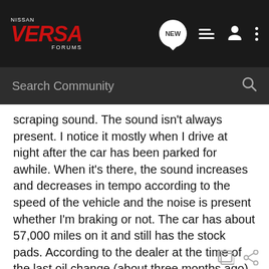NISSAN VERSA FORUMS
Search Community
scraping sound. The sound isn't always present. I notice it mostly when I drive at night after the car has been parked for awhile. When it's there, the sound increases and decreases in tempo according to the speed of the vehicle and the noise is present whether I'm braking or not. The car has about 57,000 miles on it and still has the stock pads. According to the dealer at the time of the last oil change (about three months ago) the pads had 5mm left on all four wheels. I have not noticed any changes in the braking performance other than increased travel due to the pads wearing. No vibration or mushiness.
I am about to take a road trip of approximately 1,000 miles. Is this something I should have checked out before the trip?